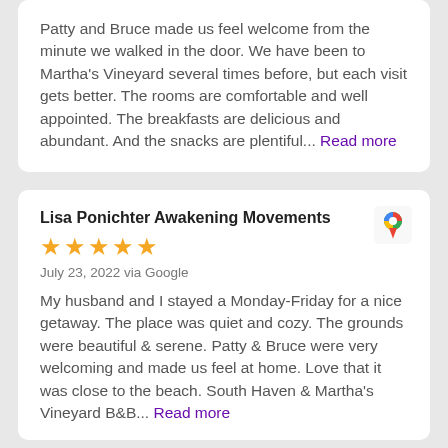Patty and Bruce made us feel welcome from the minute we walked in the door. We have been to Martha's Vineyard several times before, but each visit gets better. The rooms are comfortable and well appointed. The breakfasts are delicious and abundant. And the snacks are plentiful... Read more
Lisa Ponichter Awakening Movements
July 23, 2022 via Google
My husband and I stayed a Monday-Friday for a nice getaway. The place was quiet and cozy. The grounds were beautiful & serene. Patty & Bruce were very welcoming and made us feel at home. Love that it was close to the beach. South Haven & Martha's Vineyard B&B... Read more